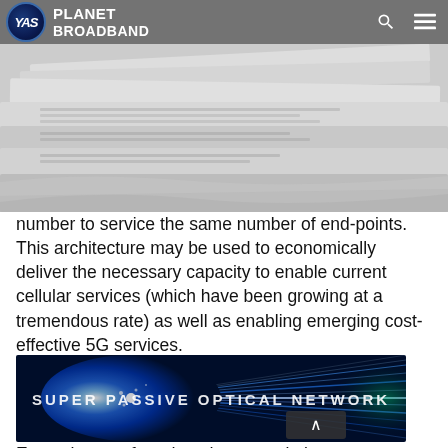YAS PLANET BROADBAND
[Figure (photo): Stack of newspapers, close-up overhead view, black and white]
number to service the same number of end-points. This architecture may be used to economically deliver the necessary capacity to enable current cellular services (which have been growing at a tremendous rate) as well as enabling emerging cost-effective 5G services.
[Figure (photo): SUPER PASSIVE OPTICAL NETWORK - fiber optic cables with blue light streaks, dark background with glowing fibers]
Every three or four decades a revolutionary